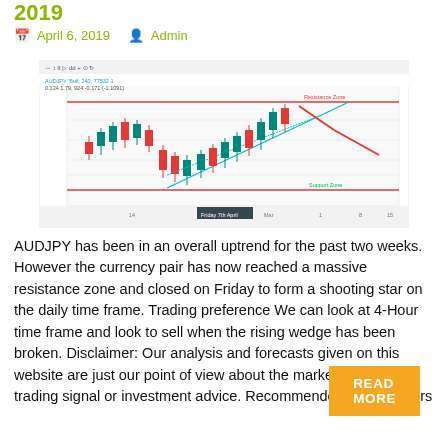2019
April 6, 2019   Admin
[Figure (screenshot): AUDJPY 4-hour candlestick chart showing uptrend within rising wedge pattern, with resistance zone marked by red horizontal lines and trendlines in cyan and red indicating a shooting star reversal setup.]
AUDJPY has been in an overall uptrend for the past two weeks. However the currency pair has now reached a massive resistance zone and closed on Friday to form a shooting star on the daily time frame. Trading preference We can look at 4-Hour time frame and look to sell when the rising wedge has been broken. Disclaimer: Our analysis and forecasts given on this website are just our point of view about the market. It is not a trading signal or investment advice. Recommended forex brokers
READ MORE